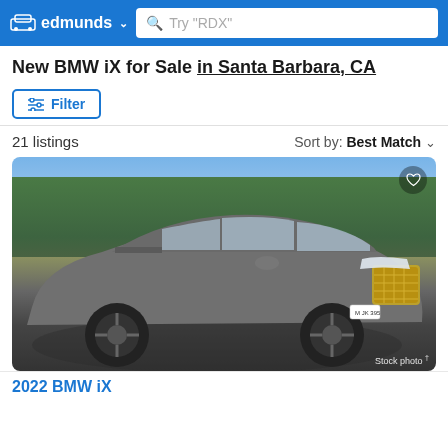edmunds — Search: Try "RDX"
New BMW iX for Sale in Santa Barbara, CA
Filter
21 listings    Sort by: Best Match
[Figure (photo): Gray BMW iX electric SUV parked on a road with green forested hills in the background. A heart icon appears in the upper right corner. 'Stock photo' label in lower right.]
2022 BMW iX